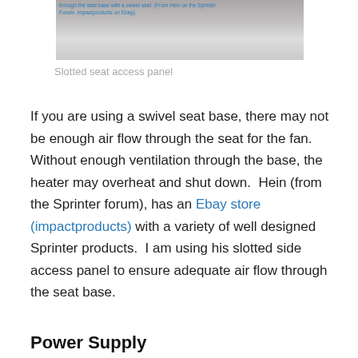[Figure (photo): Slotted seat access panel – partial photo showing white plastic panel, cropped at top of page]
Slotted seat access panel
If you are using a swivel seat base, there may not be enough air flow through the seat for the fan.  Without enough ventilation through the base, the heater may overheat and shut down.  Hein (from the Sprinter forum), has an Ebay store (impactproducts) with a variety of well designed Sprinter products.  I am using his slotted side access panel to ensure adequate air flow through the seat base.
Power Supply